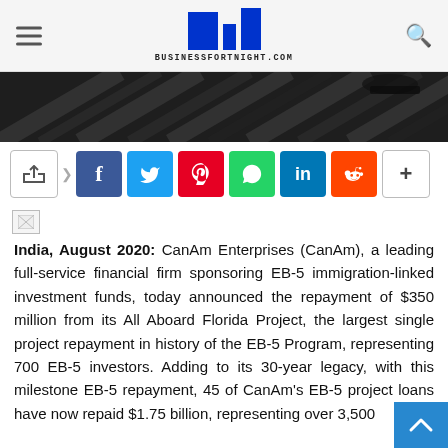BUSINESSFORTNIGHT.COM
[Figure (photo): Hero banner image: dark grayscale photo of wooden planks or rails at an angle]
[Figure (infographic): Social share bar with icons: share, Facebook, Twitter, Pinterest, WhatsApp, LinkedIn, Reddit, more]
[Figure (photo): Small broken/placeholder image icon]
India, August 2020: CanAm Enterprises (CanAm), a leading full-service financial firm sponsoring EB-5 immigration-linked investment funds, today announced the repayment of $350 million from its All Aboard Florida Project, the largest single project repayment in history of the EB-5 Program, representing 700 EB-5 investors. Adding to its 30-year legacy, with this milestone EB-5 repayment, 45 of CanAm's EB-5 project loans have now repaid $1.75 billion, representing over 3,500